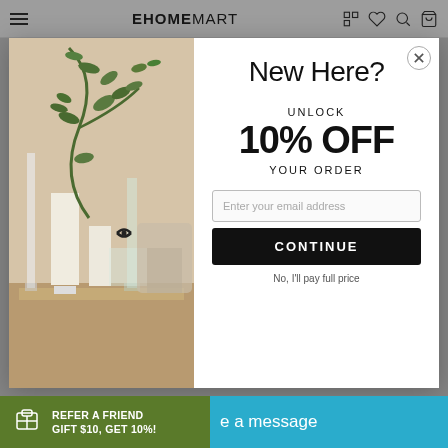EHOMEMART
[Figure (photo): Interior home decor photo showing candles, glass vases, and green eucalyptus branches on a table, with a chair in the background]
New Here?
UNLOCK
10% OFF
YOUR ORDER
Enter your email address
CONTINUE
No, I'll pay full price
REFER A FRIEND
GIFT $10, GET 10%!
e a message